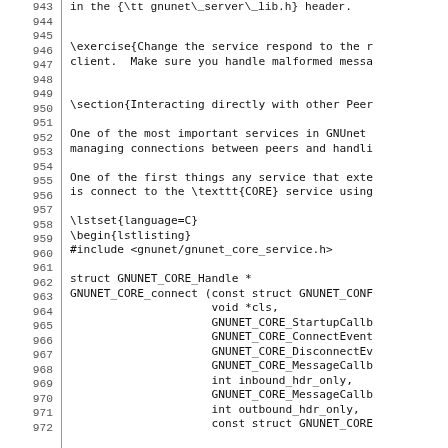Source code listing showing LaTeX document source lines 943-972, including GNUnet CORE service header inclusion and GNUNET_CORE_connect function signature in C.